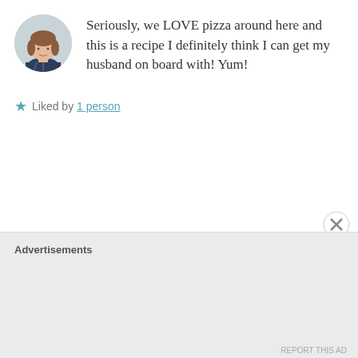Seriously, we LOVE pizza around here and this is a recipe I definitely think I can get my husband on board with! Yum!
Liked by 1 person
CEGLUTENFREEFOODIE  March 16, 2017 at 2:06 pm  REPLY →
We do too! My hubby was happy that he could have soup and pepperoni at the same time. . .LOL
Like
Advertisements